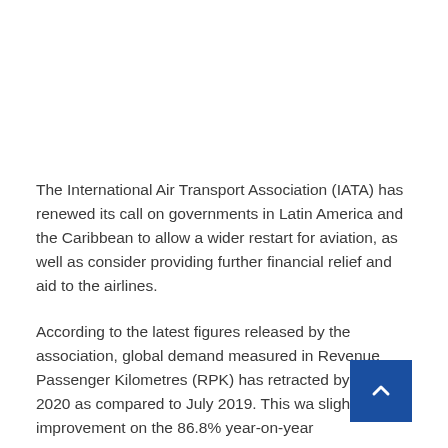The International Air Transport Association (IATA) has renewed its call on governments in Latin America and the Caribbean to allow a wider restart for aviation, as well as consider providing further financial relief and aid to the airlines.
According to the latest figures released by the association, global demand measured in Revenue Passenger Kilometres (RPK) has retracted by 7[...] in July 2020 as compared to July 2019. This was slight improvement on the 86.8% year-on-year...